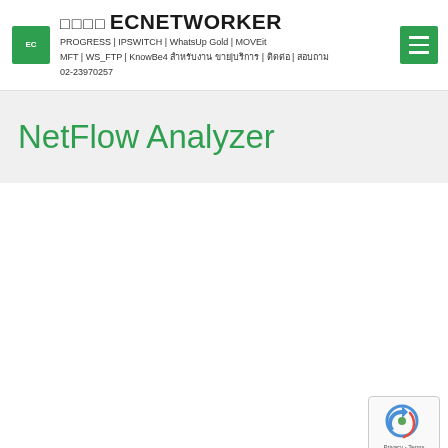□□□□ ECNETWORKER PROGRESS | IPSWITCH | WhatsUp Gold | MOVEit MFT | WS_FTP | KnowBe4 สำหรับงาน ขาย|บริการ | ติดต่อ | สอบถาม 02-23970257
NetFlow Analyzer
[Figure (other): reCAPTCHA privacy badge with arrow icon, showing Privacy - Terms links]